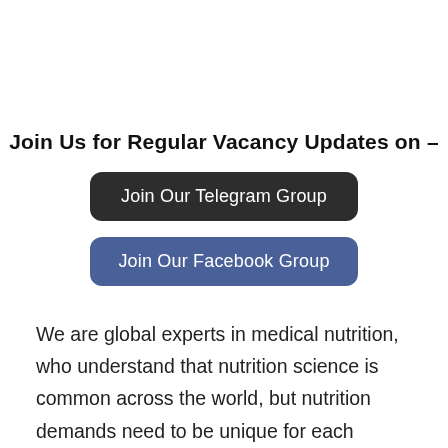Join Us for Regular Vacancy Updates on –
Join Our Telegram Group
Join Our Facebook Group
We are global experts in medical nutrition, who understand that nutrition science is common across the world, but nutrition demands need to be unique for each country.